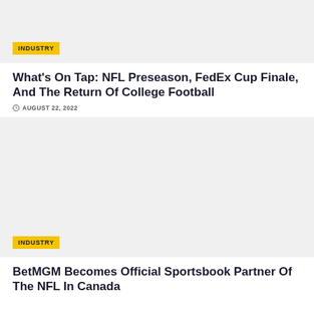[Figure (photo): Gray placeholder image with INDUSTRY badge overlay]
INDUSTRY
What's On Tap: NFL Preseason, FedEx Cup Finale, And The Return Of College Football
AUGUST 22, 2022
[Figure (photo): Gray placeholder image with INDUSTRY badge overlay]
INDUSTRY
BetMGM Becomes Official Sportsbook Partner Of The NFL In Canada